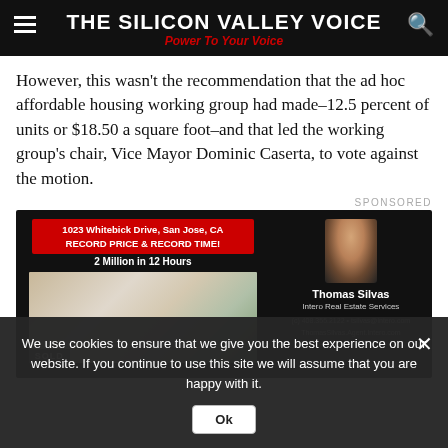THE SILICON VALLEY VOICE
Power To Your Voice
However, this wasn’t the recommendation that the ad hoc affordable housing working group had made–12.5 percent of units or $18.50 a square foot–and that led the working group’s chair, Vice Mayor Dominic Caserta, to vote against the motion.
SPONSORED
[Figure (photo): Real estate advertisement for 1023 Whitebick Drive, San Jose, CA. Shows a living room photo, agent Thomas Silvas of Intero Real Estate Services, with contact info. Red banner reads: RECORD PRICE & RECORD TIME! 2 Million in 12 Hours.]
We use cookies to ensure that we give you the best experience on our website. If you continue to use this site we will assume that you are happy with it.